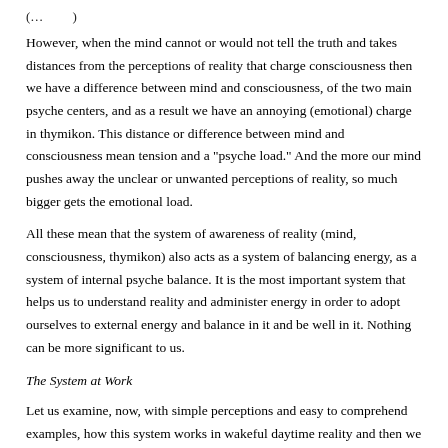(…) …
However, when the mind cannot or would not tell the truth and takes distances from the perceptions of reality that charge consciousness then we have a difference between mind and consciousness, of the two main psyche centers, and as a result we have an annoying (emotional) charge in thymikon. This distance or difference between mind and consciousness mean tension and a "psyche load." And the more our mind pushes away the unclear or unwanted perceptions of reality, so much bigger gets the emotional load.
All these mean that the system of awareness of reality (mind, consciousness, thymikon) also acts as a system of balancing energy, as a system of internal psyche balance. It is the most important system that helps us to understand reality and administer energy in order to adopt ourselves to external energy and balance in it and be well in it. Nothing can be more significant to us.
The System at Work
Let us examine, now, with simple perceptions and easy to comprehend examples, how this system works in wakeful daytime reality and then we will venture in some deeper waters to see how it works in the dream.